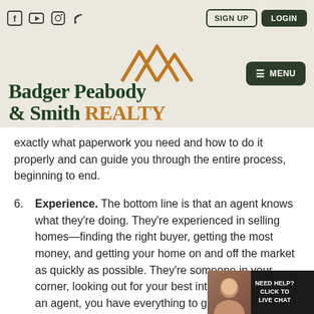Social icons: Facebook, YouTube, Instagram, RSS | SIGN UP | LOGIN | MENU
[Figure (logo): Badger Peabody & Smith Realty logo with mountain/chevron icon in gold]
exactly what paperwork you need and how to do it properly and can guide you through the entire process, beginning to end.
6. Experience. The bottom line is that an agent knows what they're doing. They're experienced in selling homes—finding the right buyer, getting the most money, and getting your home on and off the market as quickly as possible. They're someone in your corner, looking out for your best interest. When hiring an a[gent, you] have everything to gain and nothing[...]